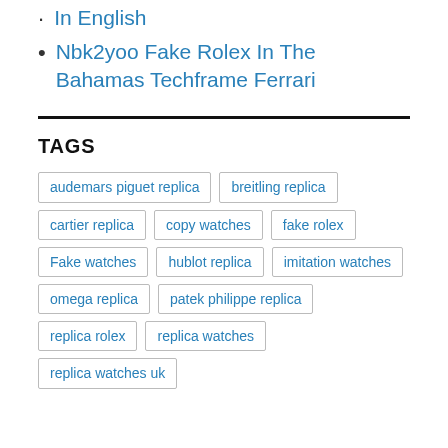In English
Nbk2yoo Fake Rolex In The Bahamas Techframe Ferrari
TAGS
audemars piguet replica
breitling replica
cartier replica
copy watches
fake rolex
Fake watches
hublot replica
imitation watches
omega replica
patek philippe replica
replica rolex
replica watches
replica watches uk